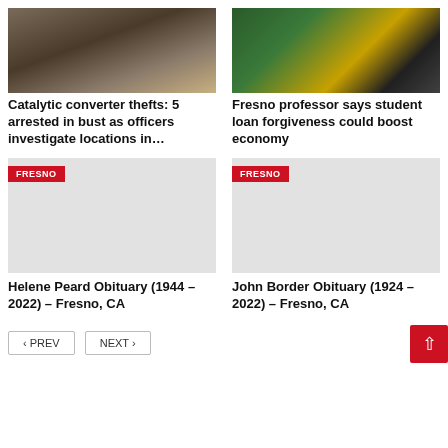[Figure (photo): Bucket of metal catalytic converter parts]
[Figure (photo): Graduation cap on top of US dollar bills]
Catalytic converter thefts: 5 arrested in bust as officers investigate locations in…
Fresno professor says student loan forgiveness could boost economy
[Figure (photo): Gray placeholder image with FRESNO tag]
[Figure (photo): Gray placeholder image with FRESNO tag]
Helene Peard Obituary (1944 – 2022) – Fresno, CA
John Border Obituary (1924 – 2022) – Fresno, CA
< PREV   NEXT >